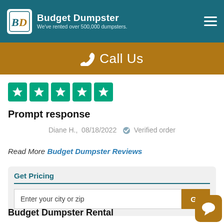[Figure (logo): Budget Dumpster logo with BD initials in white box and company name]
Budget Dumpster – We've rented over 500,000 dumpsters.
📞 Call Us
[Figure (other): Five green Trustpilot star rating boxes]
Prompt response
Diane H.,  08/18/2022  ✔ Verified order
Read More Budget Dumpster Reviews
Get Pricing
Enter your city or zip
Budget Dumpster Rental